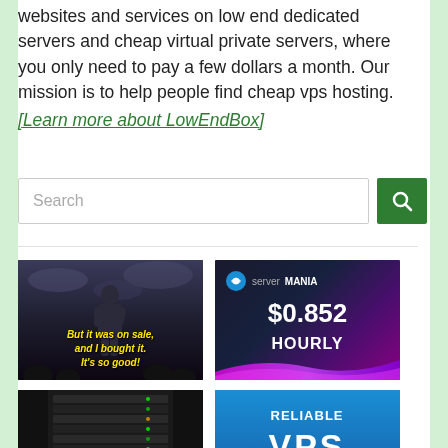websites and services on low end dedicated servers and cheap virtual private servers, where you only need to pay a few dollars a month. Our mission is to help people find cheap vps hosting. [Learn more about LowEndBox]
[Figure (screenshot): Search bar with green search button]
[Figure (photo): Comedy meme image of person on stage with text 'But it was on sale, and I bought it. It's so good!']
[Figure (screenshot): ServerMania advertisement showing $0.852 HOURLY pricing with purple wave design]
[Figure (photo): Server rack with dark background and LED lights]
[Figure (screenshot): Blue advertisement for Reliable VPS Hosting with cloud graphic at bottom]